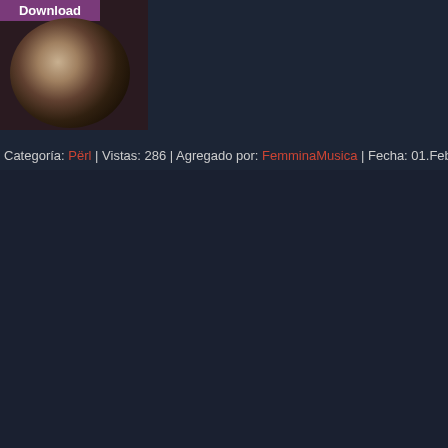[Figure (photo): Album art thumbnail with a vinyl record image and a purple Download button overlay at top]
Categoría: Përl | Vistas: 286 | Agregado por: FemminaMusica | Fecha: 01.Feb.2018